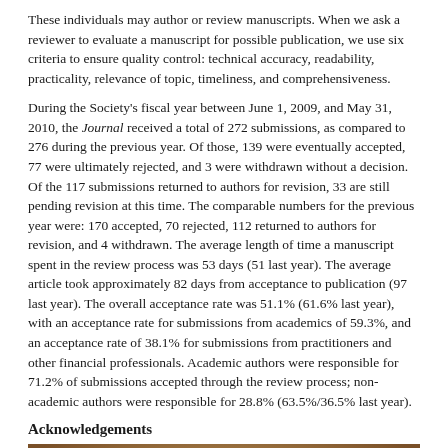These individuals may author or review manuscripts. When we ask a reviewer to evaluate a manuscript for possible publication, we use six criteria to ensure quality control: technical accuracy, readability, practicality, relevance of topic, timeliness, and comprehensiveness.
During the Society's fiscal year between June 1, 2009, and May 31, 2010, the Journal received a total of 272 submissions, as compared to 276 during the previous year. Of those, 139 were eventually accepted, 77 were ultimately rejected, and 3 were withdrawn without a decision. Of the 117 submissions returned to authors for revision, 33 are still pending revision at this time. The comparable numbers for the previous year were: 170 accepted, 70 rejected, 112 returned to authors for revision, and 4 withdrawn. The average length of time a manuscript spent in the review process was 53 days (51 last year). The average article took approximately 82 days from acceptance to publication (97 last year). The overall acceptance rate was 51.1% (61.6% last year), with an acceptance rate for submissions from academics of 59.3%, and an acceptance rate of 38.1% for submissions from practitioners and other financial professionals. Academic authors were responsible for 71.2% of submissions accepted through the review process; non-academic authors were responsible for 28.8% (63.5%/36.5% last year).
Acknowledgements
[Figure (photo): Portrait photograph of a woman with blonde/light brown shoulder-length hair, against a brown/tan background. Only the upper portion of the face and torso are visible.]